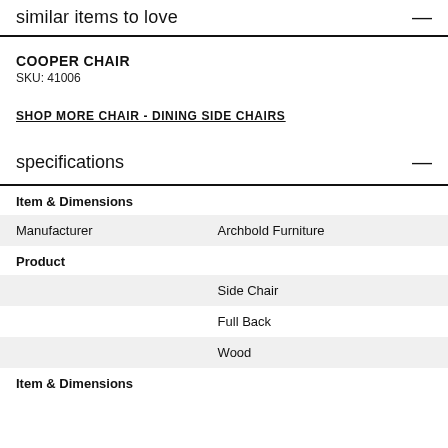similar items to love
COOPER CHAIR
SKU: 41006
SHOP MORE CHAIR - DINING SIDE CHAIRS
specifications
| Item & Dimensions |  |
| Manufacturer | Archbold Furniture |
| Product |  |
|  | Side Chair |
|  | Full Back |
|  | Wood |
| Item & Dimensions |  |